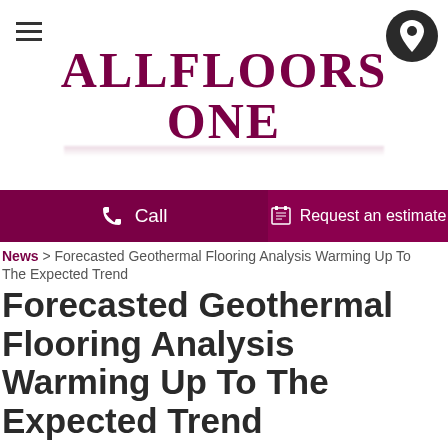ALLFLOORS ONE
Call  |  Request an estimate
News > Forecasted Geothermal Flooring Analysis Warming Up To The Expected Trend
Forecasted Geothermal Flooring Analysis Warming Up To The Expected Trend
Friday, February 10, 2017 9:19 AM
[Figure (illustration): Facebook and Twitter social media icons]